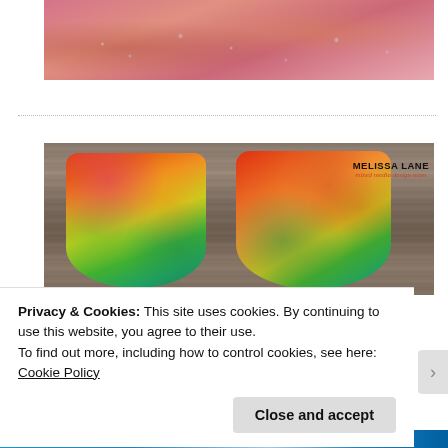[Figure (photo): Pink and gold decorative craft tags/cards with rhinestones and heart embellishments on a dark surface, partially cropped at top]
[Figure (photo): Two colorful fall-themed gift tags with pumpkin outlines on a wood background. Tags have multicolor tie-dye style backgrounds in orange, red, yellow and green. Watermark reads 'MELISSA LANE mixed media design team']
Privacy & Cookies: This site uses cookies. By continuing to use this website, you agree to their use.
To find out more, including how to control cookies, see here: Cookie Policy
Close and accept